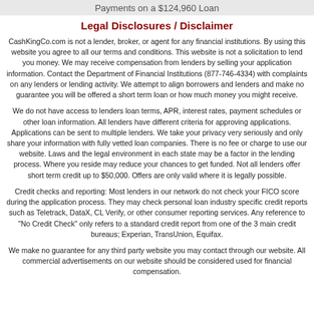Payments on a $124,960 Loan
Legal Disclosures / Disclaimer
CashKingCo.com is not a lender, broker, or agent for any financial institutions. By using this website you agree to all our terms and conditions. This website is not a solicitation to lend you money. We may receive compensation from lenders by selling your application information. Contact the Department of Financial Institutions (877-746-4334) with complaints on any lenders or lending activity. We attempt to align borrowers and lenders and make no guarantee you will be offered a short term loan or how much money you might receive.
We do not have access to lenders loan terms, APR, interest rates, payment schedules or other loan information. All lenders have different criteria for approving applications. Applications can be sent to multiple lenders. We take your privacy very seriously and only share your information with fully vetted loan companies. There is no fee or charge to use our website. Laws and the legal environment in each state may be a factor in the lending process. Where you reside may reduce your chances to get funded. Not all lenders offer short term credit up to $50,000. Offers are only valid where it is legally possible.
Credit checks and reporting: Most lenders in our network do not check your FICO score during the application process. They may check personal loan industry specific credit reports such as Teletrack, DataX, CL Verify, or other consumer reporting services. Any reference to "No Credit Check" only refers to a standard credit report from one of the 3 main credit bureaus; Experian, TransUnion, Equifax.
We make no guarantee for any third party website you may contact through our website. All commercial advertisements on our website should be considered used for financial compensation.